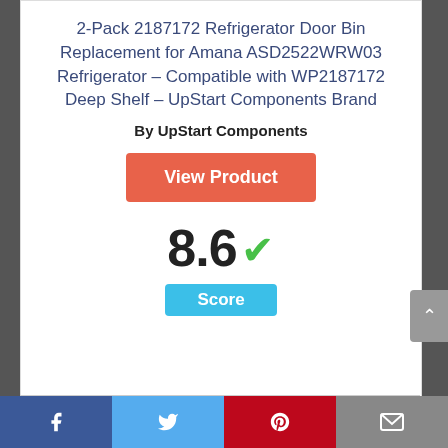2-Pack 2187172 Refrigerator Door Bin Replacement for Amana ASD2522WRW03 Refrigerator – Compatible with WP2187172 Deep Shelf – UpStart Components Brand
By UpStart Components
View Product
8.6 Score
Facebook | Twitter | Pinterest | Email